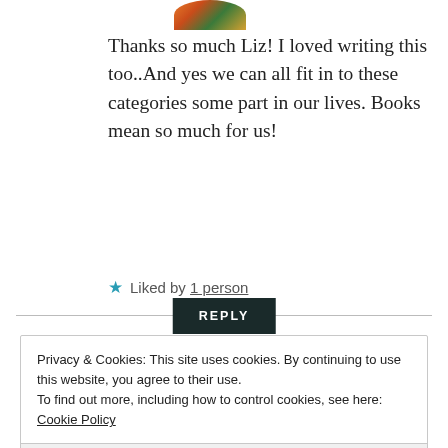[Figure (photo): Partial view of a round user avatar photo showing colorful image, cropped at top]
Thanks so much Liz! I loved writing this too..And yes we can all fit in to these categories some part in our lives. Books mean so much for us!
★ Liked by 1 person
REPLY
Privacy & Cookies: This site uses cookies. By continuing to use this website, you agree to their use.
To find out more, including how to control cookies, see here: Cookie Policy
Close and accept